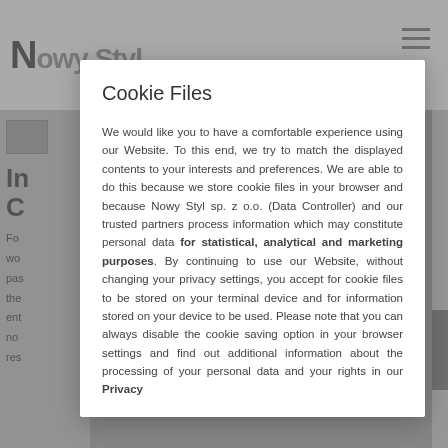[Figure (screenshot): Website header with partial logo text visible]
Cookie Files
We would like you to have a comfortable experience using our Website. To this end, we try to match the displayed contents to your interests and preferences. We are able to do this because we store cookie files in your browser and because Nowy Styl sp. z o.o. (Data Controller) and our trusted partners process information which may constitute personal data for statistical, analytical and marketing purposes. By continuing to use our Website, without changing your privacy settings, you accept for cookie files to be stored on your terminal device and for information stored on your device to be used. Please note that you can always disable the cookie saving option in your browser settings and find out additional information about the processing of your personal data and your rights in our Privacy